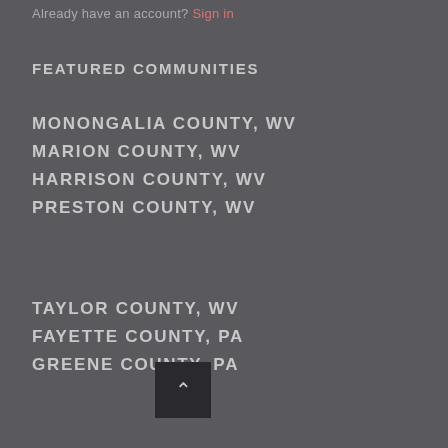Already have an account? Sign in
FEATURED COMMUNITIES
MONONGALIA COUNTY, WV
MARION COUNTY, WV
HARRISON COUNTY, WV
PRESTON COUNTY, WV
TAYLOR COUNTY, WV
FAYETTE COUNTY, PA
GREENE COUNTY, PA